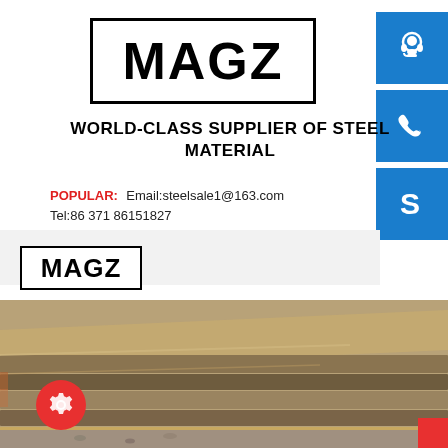[Figure (logo): MAGZ logo in bold black text inside a rectangular border]
[Figure (illustration): Blue square icon with white headset/customer support symbol]
[Figure (illustration): Blue square icon with white telephone symbol]
[Figure (illustration): Blue square icon with white Skype symbol]
WORLD-CLASS SUPPLIER OF STEEL MATERIAL
POPULAR:   Email:steelsale1@163.com
Tel:86 371 86151827
[Figure (logo): Smaller MAGZ logo in bold black text inside a rectangular border]
[Figure (photo): Close-up photo of stacked steel plate sheets/materials]